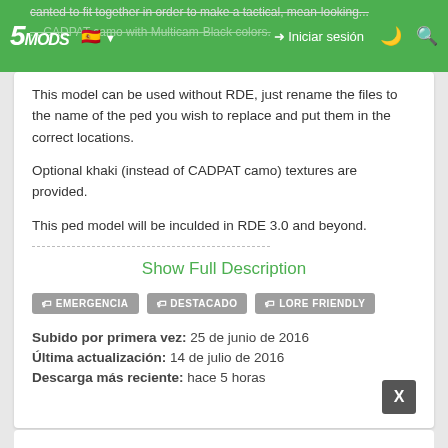5MODS — Iniciar sesión
This model can be used without RDE, just rename the files to the name of the ped you wish to replace and put them in the correct locations.
Optional khaki (instead of CADPAT camo) textures are provided.
This ped model will be inculded in RDE 3.0 and beyond.
Show Full Description
🏷 EMERGENCIA
🏷 DESTACADO
🏷 LORE FRIENDLY
Subido por primera vez: 25 de junio de 2016
Última actualización: 14 de julio de 2016
Descarga más reciente: hace 5 horas